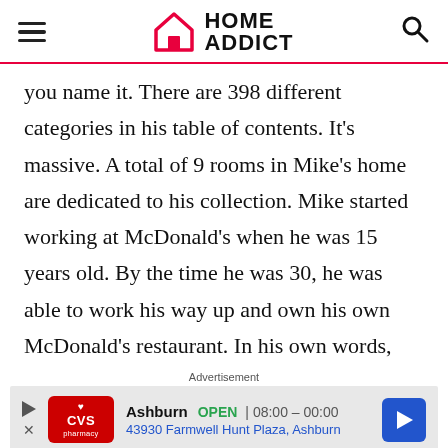HOME ADDICT
you name it. There are 398 different categories in his table of contents. It’s massive. A total of 9 rooms in Mike’s home are dedicated to his collection. Mike started working at McDonald’s when he was 15 years old. By the time he was 30, he was able to work his way up and own his own McDonald’s restaurant. In his own words,
Advertisement
[Figure (other): CVS Pharmacy advertisement banner showing Ashburn location, OPEN 08:00-00:00, 43930 Farmwell Hunt Plaza, Ashburn]